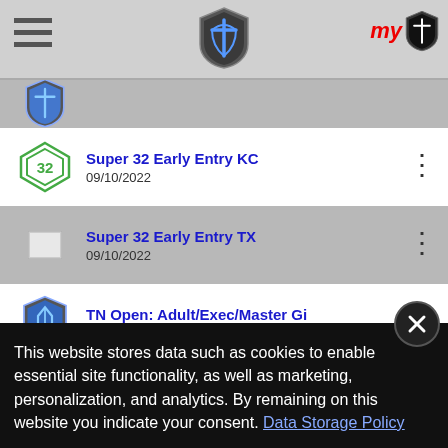Navigation header with hamburger menu, shield logo, and myTJ logo
Super 32 Early Entry KC — 09/10/2022
Super 32 Early Entry TX — 09/10/2022
TN Open: Adult/Exec/Master Gi — 09/10/2022
TN Open: Adult/Exec/Master NoGi — 09/10/2022
TN Open: Kids/Teens Gi — 09/10/2022
This website stores data such as cookies to enable essential site functionality, as well as marketing, personalization, and analytics. By remaining on this website you indicate your consent. Data Storage Policy